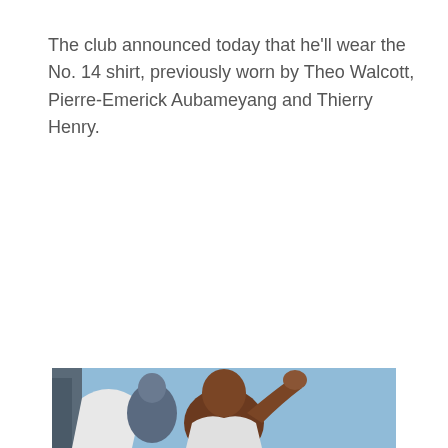The club announced today that he'll wear the No. 14 shirt, previously worn by Theo Walcott, Pierre-Emerick Aubameyang and Thierry Henry.
[Figure (photo): A football player celebrating, shown from the waist up, with a light blue sky background. The player appears to be a dark-skinned male athlete raising his arm.]